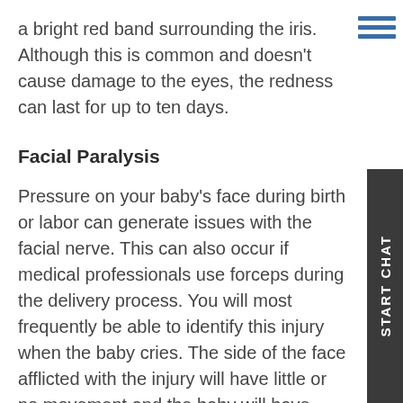a bright red band surrounding the iris. Although this is common and doesn't cause damage to the eyes, the redness can last for up to ten days.
Facial Paralysis
Pressure on your baby's face during birth or labor can generate issues with the facial nerve. This can also occur if medical professionals use forceps during the delivery process. You will most frequently be able to identify this injury when the baby cries. The side of the face afflicted with the injury will have little or no movement and the baby will have difficulty closing the eye on this side as well. If your infant's nerve was only bruised then the